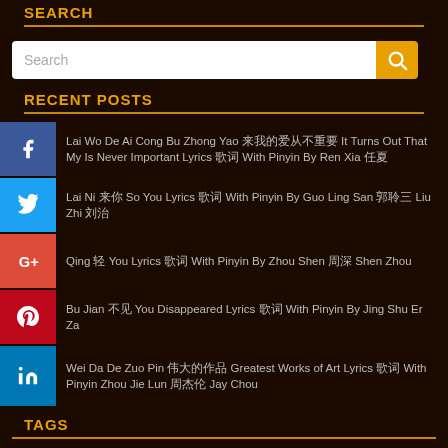SEARCH
[Figure (other): Search input bar with magnifying glass icon]
RECENT POSTS
Lai Wo De Ai Cong Bu Zhong Yao 来我的爱从不重要 It Turns Out That My Is Never Important Lyrics 歌词 With Pinyin By Ren Xia 任夏
Lai Ni 来你 So You Lyrics 歌词 With Pinyin By Guo Ling San 郭聆三 Liu Zhi 刘治
Qing 轻 You Lyrics 歌词 With Pinyin By Zhou Shen 周深 Shen Zhou
Bu Jian 不见 You Disappeared Lyrics 歌词 With Pinyin By Jing Shu Er Za
Wei Da De Zuo Pin 伟大的作品 Greatest Works of Art Lyrics 歌词 With Pinyin Zhou Jie Lun 周杰伦 Jay Chou
TAGS
Andy Lau Song Beautiful Chinese Song Best